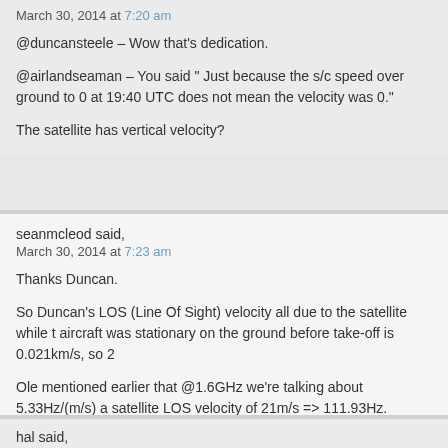March 30, 2014 at 7:20 am
@duncansteele – Wow that's dedication.
@airlandseaman – You said " Just because the s/c speed over ground to 0 at 19:40 UTC does not mean the velocity was 0."
The satellite has vertical velocity?
seanmcleod said,
March 30, 2014 at 7:23 am
Thanks Duncan.
So Duncan's LOS (Line Of Sight) velocity all due to the satellite while the aircraft was stationary on the ground before take-off is 0.021km/s, so 2
Ole mentioned earlier that @1.6GHz we're talking about 5.33Hz/(m/s) a satellite LOS velocity of 21m/s => 111.93Hz. Versus the 87Hz listed i Burst Frequency Offset graph released by Inmarsat.
hal said,
March 30, 2014 at 7:33 am